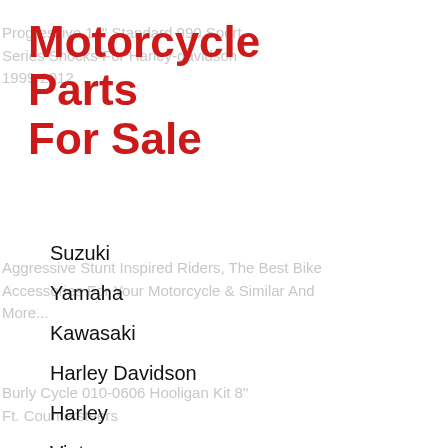Motorcycle Parts For Sale
Suzuki
Yamaha
Kawasaki
Harley Davidson
Harley
Vintage
We Take Pride In Making Sure This Part Is The Part You Need And That Will Fit! Go Through Us!
Progressive 990 Sport Series Shocks